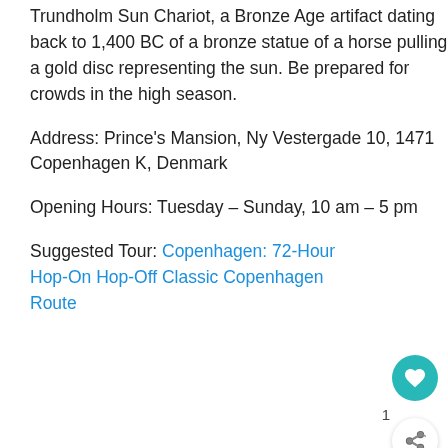Trundholm Sun Chariot, a Bronze Age artifact dating back to 1,400 BC of a bronze statue of a horse pulling a gold disc representing the sun. Be prepared for crowds in the high season.
Address: Prince's Mansion, Ny Vestergade 10, 1471 Copenhagen K, Denmark
Opening Hours: Tuesday – Sunday, 10 am – 5 pm
Suggested Tour: Copenhagen: 72-Hour Hop-On Hop-Off Classic Copenhagen Route